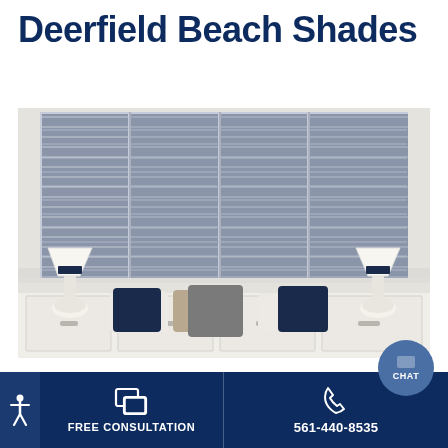Deerfield Beach Shades
[Figure (photo): Interior room scene showing four large grey/blue pleated cellular shades on windows above a white dresser/credenza with decorative pillows and table lamps on each side.]
Sunburst provides a collection of shades in Deerfield Beach for homeowners to choose f…
FREE CONSULTATION | 561-440-8535 | CHAT